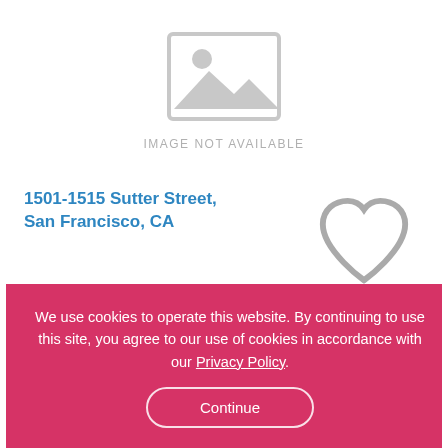[Figure (photo): Image placeholder icon with 'IMAGE NOT AVAILABLE' text below it]
1501-1515 Sutter Street, San Francisco, CA
Studio  1 Bath  $1,675 USD / month
Other Amenities
Ask for Availability
We use cookies to operate this website. By continuing to use this site, you agree to our use of cookies in accordance with our Privacy Policy.
Continue